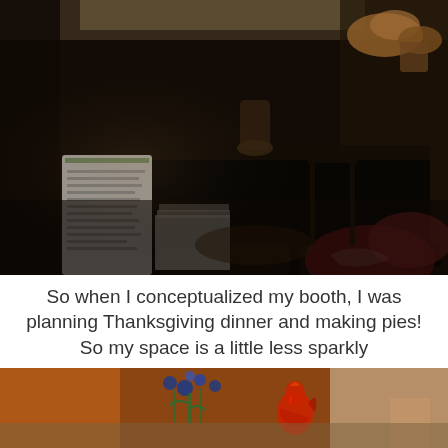[Figure (photo): Dark interior photo of a craft or antique store booth showing a black table/desk with decorative items including a floral sign with handwritten text, a stack of papers/booklets, pine branches, red and white patterned cushions or fabric, bowls, and various other merchandise on display shelves in the background.]
So when I conceptualized my booth, I was planning Thanksgiving dinner and making pies! So my space is a little less sparkly
[Figure (photo): Partial bottom photo showing what appears to be a table with blue flowers or decorations and a red ceramic rooster figurine in a store or booth setting.]